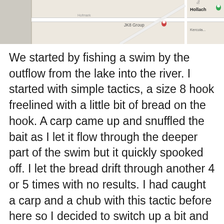[Figure (map): Partial screenshot of a map showing roads and location pins including JK8 Group and Hollach labels]
We started by fishing a swim by the outflow from the lake into the river. I started with simple tactics, a size 8 hook freelined with a little bit of bread on the hook. A carp came up and snuffled the bait as I let it flow through the deeper part of the swim but it quickly spooked off. I let the bread drift through another 4 or 5 times with no results. I had caught a carp and a chub with this tactic before here so I decided to switch up a bit and opted to use a few casters and a couple of maggots on the hook instead. I pinched a small shot about 6 inches away from the hook and cast into the deeper part of the swim. After 20 or so seconds the rod tip started to tap and I had caught my first fish. A lovely perch.